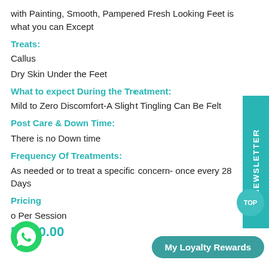with Painting, Smooth, Pampered Fresh Looking Feet is what you can Except
Treats:
Callus
Dry Skin Under the Feet
What to expect During the Treatment:
Mild to Zero Discomfort-A Slight Tingling Can Be Felt
Post Care & Down Time:
There is no Down time
Frequency Of Treatments:
As needed or to treat a specific concern- once every 28 Days
Pricing
o Per Session
R 250.00